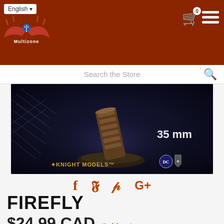English
[Figure (logo): Multizone store logo - red demon bat wings with blue eye, text Multizone]
[Figure (photo): Knight Models Firefly miniature figure, 35mm scale, on a dark background with DC Comics logo and Knight Models branding]
Search the Store
f  𝑡  p  G+
FIREFLY
$24.99 CAD  Sold out